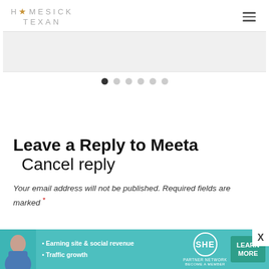HOMESICK TEXAN
[Figure (other): Slider/carousel area with navigation dots (6 dots, first filled, rest empty)]
Leave a Reply to Meeta  Cancel reply
Your email address will not be published. Required fields are marked *
[Figure (infographic): SHE Partner Network advertisement banner with text: Earning site & social revenue, Traffic growth, LEARN MORE button, BECOME A MEMBER]